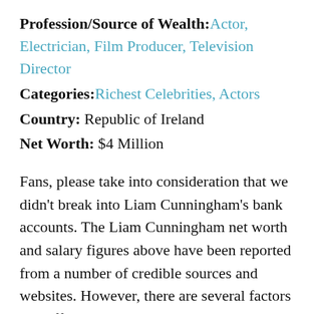Profession/Source of Wealth: Actor, Electrician, Film Producer, Television Director
Categories: Richest Celebrities, Actors
Country: Republic of Ireland
Net Worth: $4 Million
Fans, please take into consideration that we didn't break into Liam Cunningham's bank accounts. The Liam Cunningham net worth and salary figures above have been reported from a number of credible sources and websites. However, there are several factors that affect a celebrity's net worth, such as taxes, management fees,